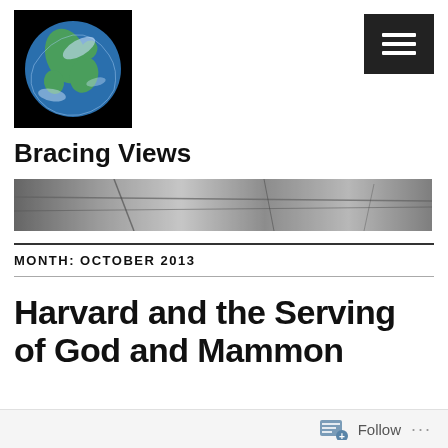[Figure (photo): Globe/Earth photo on black background used as site logo]
[Figure (illustration): Dark square button with three horizontal white lines (hamburger menu icon)]
Bracing Views
[Figure (photo): Black and white banner photo of cracked rock or stone texture]
MONTH: OCTOBER 2013
Harvard and the Serving of God and Mammon
Follow ...